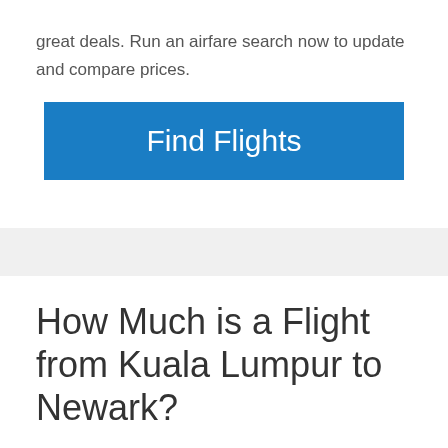great deals. Run an airfare search now to update and compare prices.
[Figure (other): Blue 'Find Flights' button]
How Much is a Flight from Kuala Lumpur to Newark?
We have collected flight cost data from across the web for travel from Kuala Lumpur to Newark, and have found the average flight price for this trip to be